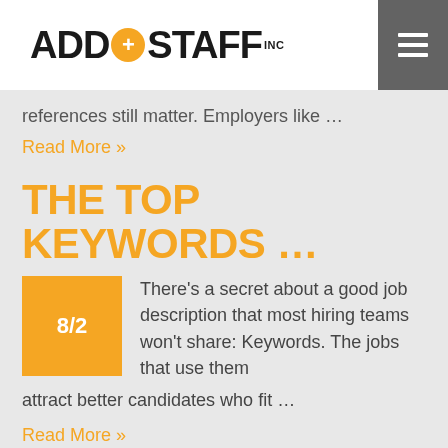ADD+STAFF INC
references still matter. Employers like …
Read More »
THE TOP KEYWORDS …
8/2
There's a secret about a good job description that most hiring teams won't share: Keywords. The jobs that use them attract better candidates who fit …
Read More »
view all